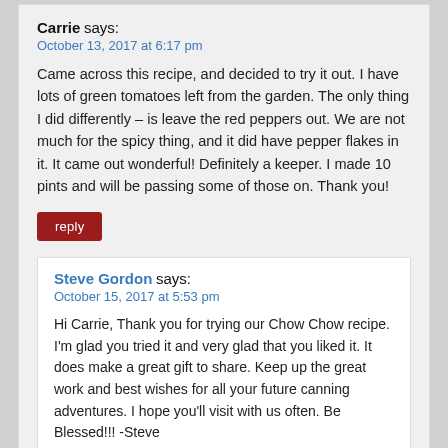Carrie says:
October 13, 2017 at 6:17 pm
Came across this recipe, and decided to try it out. I have lots of green tomatoes left from the garden. The only thing I did differently – is leave the red peppers out. We are not much for the spicy thing, and it did have pepper flakes in it. It came out wonderful! Definitely a keeper. I made 10 pints and will be passing some of those on. Thank you!
reply
Steve Gordon says:
October 15, 2017 at 5:53 pm
Hi Carrie, Thank you for trying our Chow Chow recipe. I'm glad you tried it and very glad that you liked it. It does make a great gift to share. Keep up the great work and best wishes for all your future canning adventures. I hope you'll visit with us often. Be Blessed!!! -Steve
reply